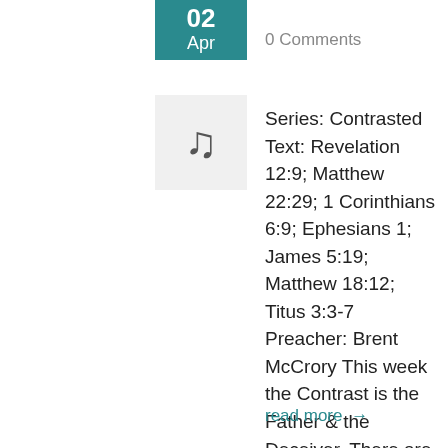02 Apr
0 Comments
[Figure (illustration): Musical note icon in a light gray box]
Series: Contrasted Text: Revelation 12:9; Matthew 22:29; 1 Corinthians 6:9; Ephesians 1; James 5:19; Matthew 18:12; Titus 3:3-7 Preacher: Brent McCrory This week the Contrast is the Father & the Deceiver. There are many ways deception happens… fortunately the heavenly Father is gracious and pursues us. After all, He is in the process of restoring all…
read more →